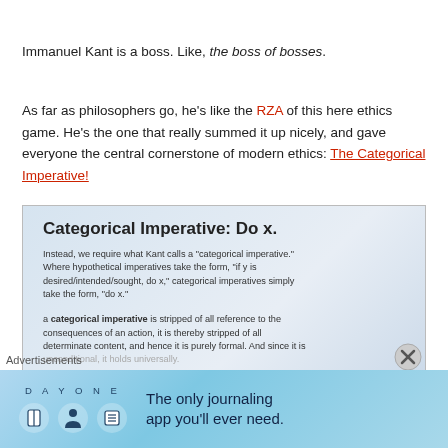Immanuel Kant is a boss. Like, the boss of bosses.
As far as philosophers go, he's like the RZA of this here ethics game. He's the one that really summed it up nicely, and gave everyone the central cornerstone of modern ethics: The Categorical Imperative!
[Figure (screenshot): Screenshot of an educational slide about the Categorical Imperative. Title: 'Categorical Imperative: Do x.' Body text explains what Kant calls a categorical imperative vs hypothetical imperatives. Second paragraph defines a categorical imperative as stripped of all reference to consequences.]
Advertisements
[Figure (illustration): DAY ONE journaling app advertisement banner with icons and text 'The only journaling app you'll ever need.']